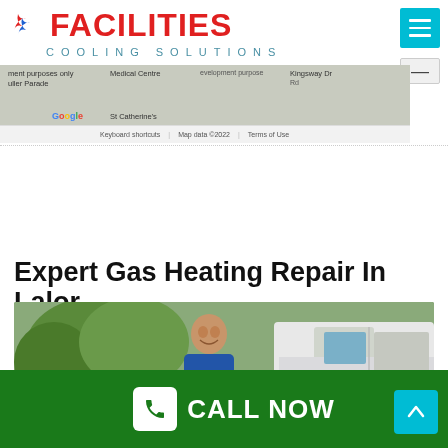[Figure (logo): Facilities Cooling Solutions company logo with red text and blue/red swirl icon]
[Figure (screenshot): Google Maps screenshot showing streets including Muller Parade, St Catherine's Primary School, Medical Centre, Kingsway Dr. Map data ©2022.]
Expert Gas Heating Repair In Lalor
[Figure (photo): Technician in blue shirt smiling, standing next to white service van]
CALL NOW